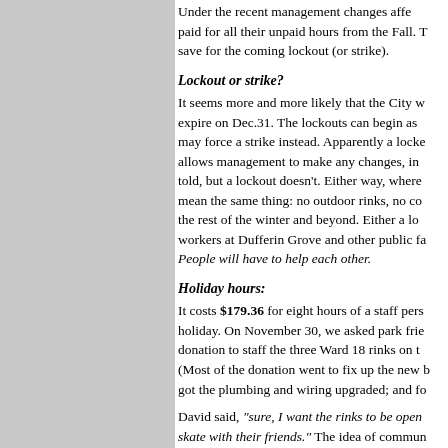Under the recent management changes affecting staff paid for all their unpaid hours from the Fall. They save for the coming lockout (or strike).
Lockout or strike?
It seems more and more likely that the City will expire on Dec.31. The lockouts can begin as may force a strike instead. Apparently a lockout allows management to make any changes, in told, but a lockout doesn't. Either way, where mean the same thing: no outdoor rinks, no coffee for the rest of the winter and beyond. Either a lockout workers at Dufferin Grove and other public facilities. People will have to help each other.
Holiday hours:
It costs $179.36 for eight hours of a staff person on a holiday. On November 30, we asked park friends for a donation to staff the three Ward 18 rinks on the holidays. (Most of the donation went to fix up the new building: got the plumbing and wiring upgraded; and fo
David said, "sure, I want the rinks to be open so kids can skate with their friends." The idea of community was strong enough that it needed some last-minute, top-level approval: Dec.21. At 10 a.m., recreation manager Sue were approved. The revised hours showed up to invite your friends to come and skate with will be open and the coffee will be on.